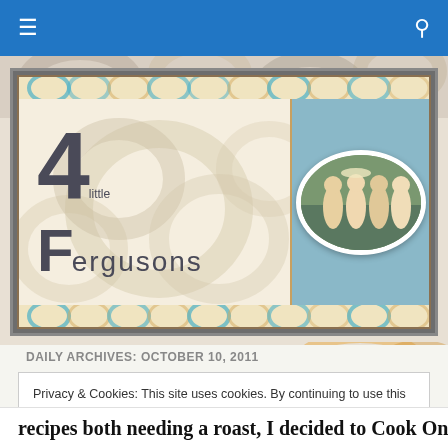[Figure (screenshot): Blue navigation bar with hamburger menu icon on left and search icon on right]
[Figure (logo): 4 Little Fergusons blog banner with floral decorative background, large stylized '4' and 'Fergusons' text on left, oval family photo on right with light blue background]
DAILY ARCHIVES: OCTOBER 10, 2011
Privacy & Cookies: This site uses cookies. By continuing to use this website, you agree to their use.
To find out more, including how to control cookies, see here: Cookie Policy
Close and accept
recipes both needing a roast, I decided to Cook Once, Eat